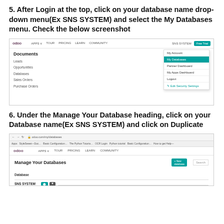5. After Login at the top, click on your database name drop-down menu(Ex SNS SYSTEM) and select the My Databases menu. Check the below screenshot
[Figure (screenshot): Screenshot of Odoo interface showing Documents menu with Leads, Opportunities, Databases, Sales Orders, Purchase Orders rows, and a dropdown menu on the right showing My Account, My Databases (highlighted), Partner Dashboard, My Apps Dashboard, Logout, Edit Security Settings]
6. Under the Manage Your Database heading, click on your Database name(Ex SNS SYSTEM) and click on Duplicate
[Figure (screenshot): Screenshot of Odoo Manage Your Databases page at odoo.com/my/databases showing browser navigation bar, Odoo nav with APPS, TOUR, PRICING, LEARN, COMMUNITY, Manage Your Databases heading with New Database button and Search field, Database column header, SNS SYSTEM database row with action buttons]